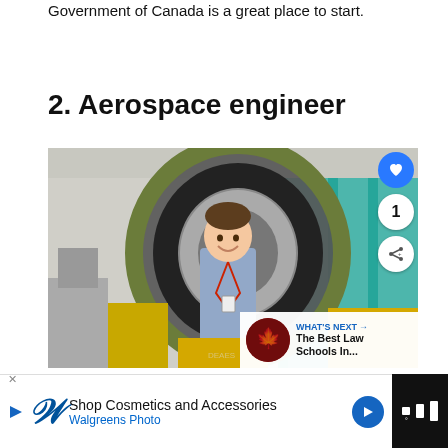Government of Canada is a great place to start.
2. Aerospace engineer
[Figure (photo): A man in a blue shirt with a red lanyard stands smiling in front of a large jet engine turbine in an industrial aerospace facility. Yellow equipment and teal scaffolding visible in background. UI overlays include a heart button, share button, and a 'What's Next - The Best Law Schools In...' card in the bottom right corner.]
The Best Schools For Aerospace Engineers In Canada 2019
Shop Cosmetics and Accessories Walgreens Photo